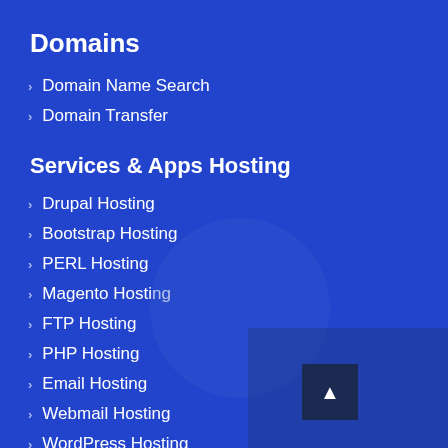Domains
Domain Name Search
Domain Transfer
Services & Apps Hosting
Drupal Hosting
Bootstrap Hosting
PERL Hosting
Magento Hosting
FTP Hosting
PHP Hosting
Email Hosting
Webmail Hosting
WordPress Hosting